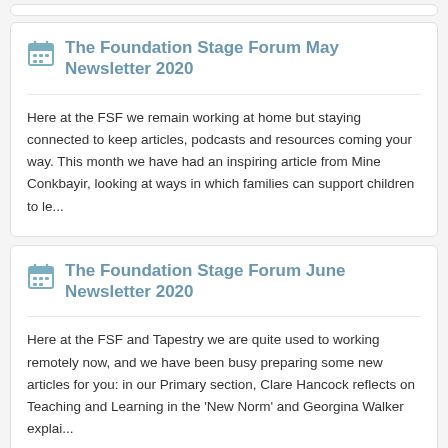The Foundation Stage Forum May Newsletter 2020
Here at the FSF we remain working at home but staying connected to keep articles, podcasts and resources coming your way. This month we have had an inspiring article from Mine Conkbayir, looking at ways in which families can support children to le...
The Foundation Stage Forum June Newsletter 2020
Here at the FSF and Tapestry we are quite used to working remotely now, and we have been busy preparing some new articles for you: in our Primary section, Clare Hancock reflects on Teaching and Learning in the 'New Norm' and Georgina Walker explai...